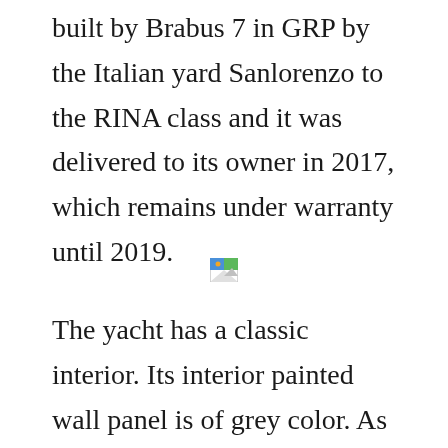built by Brabus 7 in GRP by the Italian yard Sanlorenzo to the RINA class and it was delivered to its owner in 2017, which remains under warranty until 2019.
[Figure (photo): A broken/missing image placeholder icon (small landscape image icon with green and blue colors)]
The yacht has a classic interior. Its interior painted wall panel is of grey color. As far as the accommodation is a concern, it can comfortably accommodate up to 10 guests in five cabins. The five cabins consisting of a